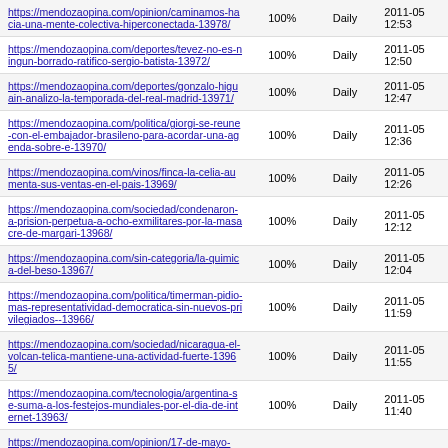| URL | Priority | Change Frequency | Last Modified |
| --- | --- | --- | --- |
| https://mendozaopina.com/opinion/caminamos-hacia-una-mente-colectiva-hiperconectada-13978/ | 100% | Daily | 2011-05 12:53 |
| https://mendozaopina.com/deportes/tevez-no-es-ningun-borrado-ratifico-sergio-batista-13972/ | 100% | Daily | 2011-05 12:50 |
| https://mendozaopina.com/deportes/gonzalo-higuain-analizo-la-temporada-del-real-madrid-13971/ | 100% | Daily | 2011-05 12:47 |
| https://mendozaopina.com/politica/giorgi-se-reune-con-el-embajador-brasileno-para-acordar-una-agenda-sobre-e-13970/ | 100% | Daily | 2011-05 12:36 |
| https://mendozaopina.com/vinos/finca-la-celia-aumenta-sus-ventas-en-el-pais-13969/ | 100% | Daily | 2011-05 12:26 |
| https://mendozaopina.com/sociedad/condenaron-a-prision-perpetua-a-ocho-exmilitares-por-la-masacre-de-margari-13968/ | 100% | Daily | 2011-05 12:12 |
| https://mendozaopina.com/sin-categoria/la-quimica-del-beso-13967/ | 100% | Daily | 2011-05 12:04 |
| https://mendozaopina.com/politica/timerman-pidio-mas-representatividad-democratica-sin-nuevos-privilegiados--13966/ | 100% | Daily | 2011-05 11:59 |
| https://mendozaopina.com/sociedad/nicaragua-el-volcan-telica-mantiene-una-actividad-fuerte-13965/ | 100% | Daily | 2011-05 11:55 |
| https://mendozaopina.com/tecnologia/argentina-se-suma-a-los-festejos-mundiales-por-el-dia-de-internet-13963/ | 100% | Daily | 2011-05 11:40 |
| https://mendozaopina.com/opinion/17-de-mayo- | 100% | Daily |  |